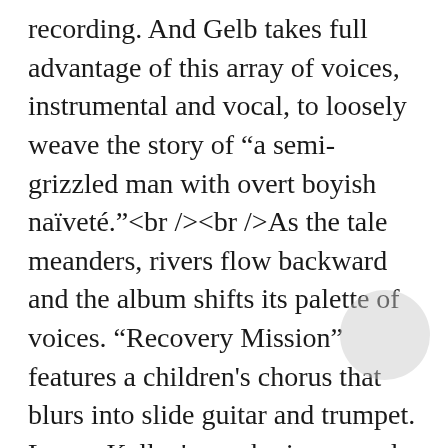recording. And Gelb takes full advantage of this array of voices, instrumental and vocal, to loosely weave the story of “a semi-grizzled man with overt boyish naïveté.”<br /><br />As the tale meanders, rivers flow backward and the album shifts its palette of voices. “Recovery Mission” features a children's chorus that blurs into slide guitar and trumpet. Lonna Kelley's smoky jazz vocal on “Ready or Not” and Brian Lopez's otherworldly vocal on “Love Comes Over You” stand out, as does “Thing Like That,” a reworking with strings of a tune previously heard on 1992's <em>Center of the Universe</em>.<br /><br />Earthly possessions come to mean nothing. Gelb's lyrics seem to venture that sounds are just as valid as actual